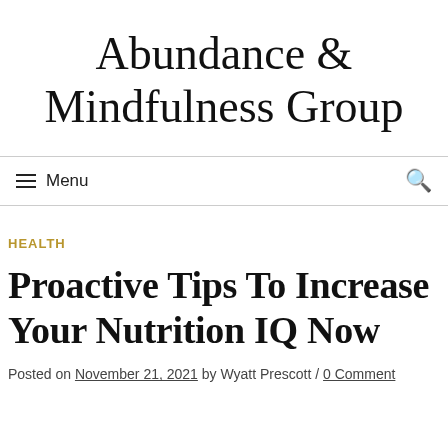Abundance & Mindfulness Group
≡ Menu
HEALTH
Proactive Tips To Increase Your Nutrition IQ Now
Posted on November 21, 2021 by Wyatt Prescott / 0 Comment